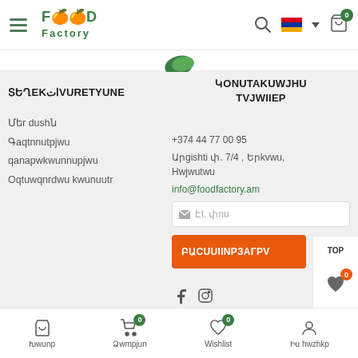Food Factory website header with logo, search, flag, and cart icons
ՏԵՂԵԿԱՏՎՈՒԹՅՈՒՆ
Մեր մասին
Գաղտնիություն
քաղաքականություն
Օգտագործման կանոններ
ԿՈՆՏԱԿՏԱՅԻՆ ՏՎՅԱLLԵՐ
+374 44 77 00 95
Արգիշti փ. 7/4 , Երևան, Հայաuտան
info@foodfactory.am
Էլ. փոu
ԲԱCUULLNP3AGPV
Խanop | Ձамpjun 0 | Wishlist 0 | Իu hazhvo